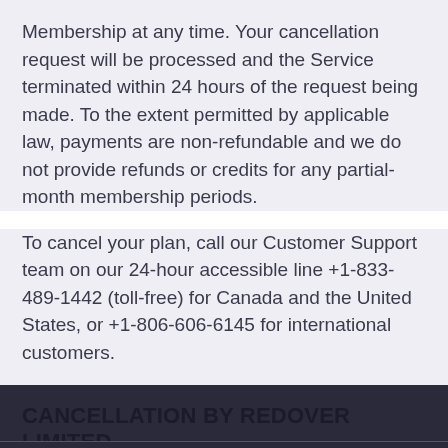Membership at any time. Your cancellation request will be processed and the Service terminated within 24 hours of the request being made. To the extent permitted by applicable law, payments are non-refundable and we do not provide refunds or credits for any partial-month membership periods.
To cancel your plan, call our Customer Support team on our 24-hour accessible line +1-833-489-1442 (toll-free) for Canada and the United States, or +1-806-606-6145 for international customers.
CANCELLATION BY REDOVER LIMITED
We reserve the right to immediately terminate or restrict your use of the Service at any time, without
This website uses cookies which help provide you with a unique user experience! See our cookie policy for further details.